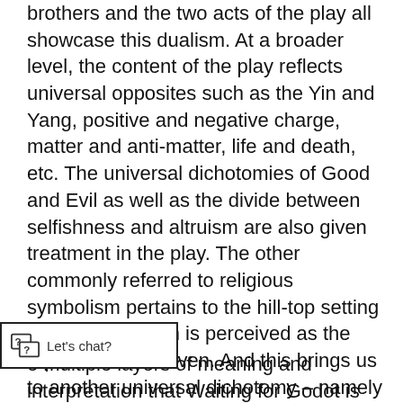brothers and the two acts of the play all showcase this dualism. At a broader level, the content of the play reflects universal opposites such as the Yin and Yang, positive and negative charge, matter and anti-matter, life and death, etc. The universal dichotomies of Good and Evil as well as the divide between selfishness and altruism are also given treatment in the play. The other commonly referred to religious symbolism pertains to the hill-top setting of the acts, which is perceived as the equivalent of heaven. And this brings us to another universal dichotomy – namely that of Heaven and Hell.
e multiple layers of meaning and interpretation that Waiting for Godot is